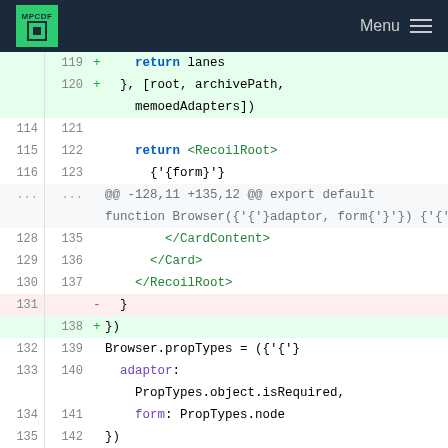MPCDF Menu
[Figure (screenshot): Code diff view showing file changes around lines 119-144, with added lines (green background, +) and removed lines (red background, -). Code shows JavaScript/React code including return lanes, archivePath, memoedAdapters, RecoilRoot, CardContent, Card, propTypes definitions, and export default Browser.]